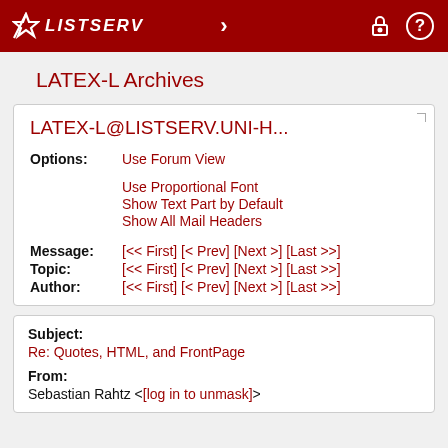LISTSERV
LATEX-L Archives
LATEX-L@LISTSERV.UNI-H...
Options: Use Forum View
Use Proportional Font
Show Text Part by Default
Show All Mail Headers
Message: [<< First] [< Prev] [Next >] [Last >>]
Topic: [<< First] [< Prev] [Next >] [Last >>]
Author: [<< First] [< Prev] [Next >] [Last >>]
Subject: Re: Quotes, HTML, and FrontPage
From: Sebastian Rahtz <[log in to unmask]>